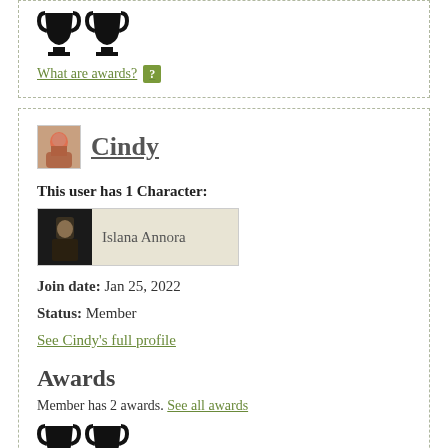[Figure (illustration): Two black trophy icons side by side (top section, partially visible)]
What are awards? [?]
[Figure (illustration): User avatar icon for Cindy, small square image]
Cindy
This user has 1 Character:
[Figure (illustration): Character card showing Islana Annora with thumbnail]
Join date: Jan 25, 2022
Status: Member
See Cindy's full profile
Awards
Member has 2 awards. See all awards
[Figure (illustration): Two black trophy icons side by side (bottom section)]
What are awards? [?]